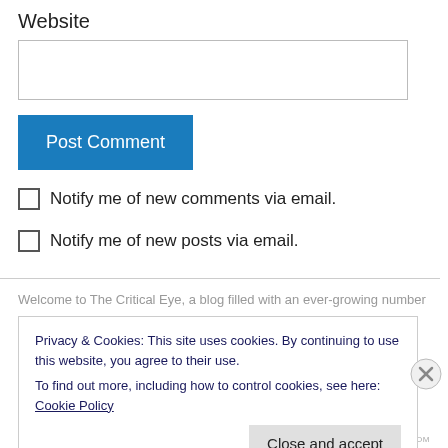Website
Post Comment
Notify me of new comments via email.
Notify me of new posts via email.
Welcome to The Critical Eye, a blog filled with an ever-growing number
Privacy & Cookies: This site uses cookies. By continuing to use this website, you agree to their use. To find out more, including how to control cookies, see here: Cookie Policy
Close and accept